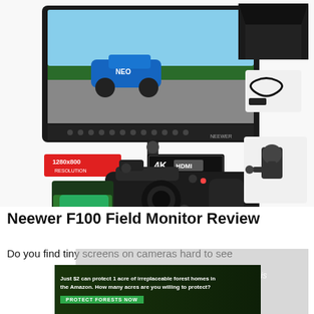[Figure (photo): Product photo of Neewer F100 field monitor shown mounted on a Sony mirrorless camera. The monitor displays a racing car image. Overlaid red badge shows '1280x800' and black badge shows '4K HDMI'. On the right side are accessory thumbnails: a sun hood/visor, an HDMI cable, and a ball head mount.]
Neewer F100 Field Monitor Review
Do you find tiny screens on cameras hard to see
[Figure (screenshot): Video player overlay showing 'No compatible source was found for this media.' overlaid with a forest conservation ad banner reading 'Just $2 can protect 1 acre of irreplaceable forest homes in the Amazon. How many acres are you willing to protect?' with a green 'PROTECT FORESTS NOW' button.]